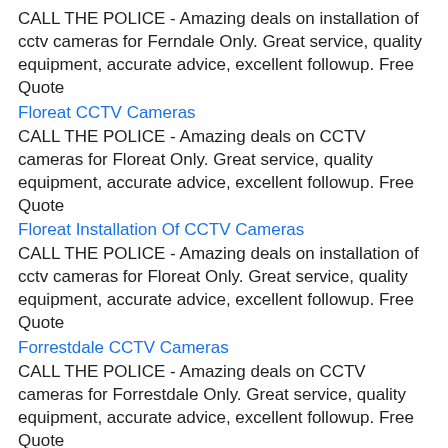CALL THE POLICE - Amazing deals on installation of cctv cameras for Ferndale Only. Great service, quality equipment, accurate advice, excellent followup. Free Quote
Floreat CCTV Cameras
CALL THE POLICE - Amazing deals on CCTV cameras for Floreat Only. Great service, quality equipment, accurate advice, excellent followup. Free Quote
Floreat Installation Of CCTV Cameras
CALL THE POLICE - Amazing deals on installation of cctv cameras for Floreat Only. Great service, quality equipment, accurate advice, excellent followup. Free Quote
Forrestdale CCTV Cameras
CALL THE POLICE - Amazing deals on CCTV cameras for Forrestdale Only. Great service, quality equipment, accurate advice, excellent followup. Free Quote
Forrestdale Installation Of CCTV Cameras
CALL THE POLICE - Amazing deals on installation of